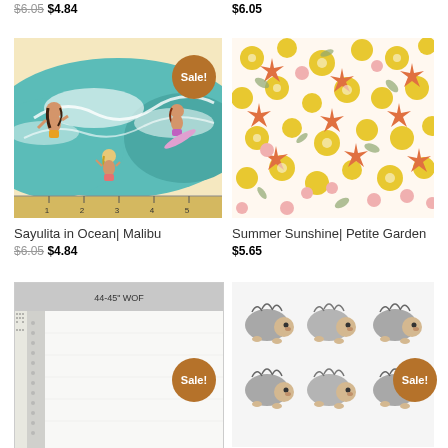$6.05 $4.84
$6.05
[Figure (illustration): Surfing girls illustration fabric - Sayulita in Ocean Malibu, teal ocean waves with cartoon girls surfing, ruler at bottom edge. Sale badge overlay.]
[Figure (illustration): Floral fabric pattern - Summer Sunshine Petite Garden, dense small flowers in yellow, orange, pink, and red on white background.]
Sayulita in Ocean| Malibu
$6.05 $4.84
Summer Sunshine| Petite Garden
$5.65
[Figure (photo): Fabric selvage/label area - white fabric with text '44-45 WOF', dotted/textured edge strip. Sale badge overlay.]
[Figure (illustration): Hedgehog fabric pattern - rows of illustrated hedgehogs in gray/white on light background. Sale badge overlay.]